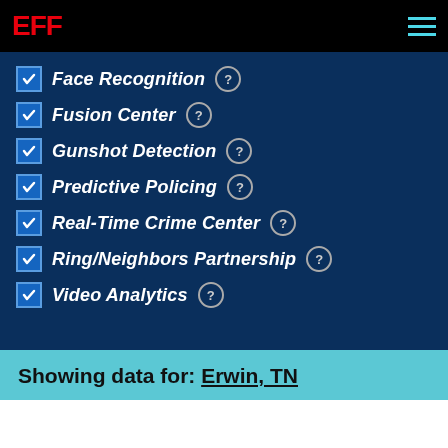EFF
Face Recognition
Fusion Center
Gunshot Detection
Predictive Policing
Real-Time Crime Center
Ring/Neighbors Partnership
Video Analytics
Showing data for: Erwin, TN
Download
Displaying 1 entry
Sort results by